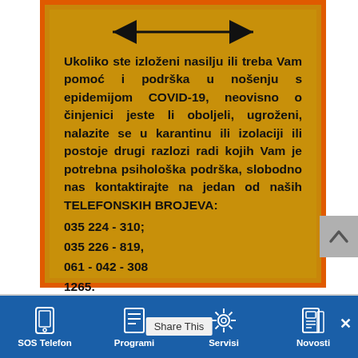[Figure (infographic): Orange-bordered golden card with a double-headed arrow at top, followed by bold black text in Bosnian describing psychological support services during COVID-19 pandemic, with phone numbers listed at the bottom.]
Ukoliko ste izloženi nasilju ili treba Vam pomoć i podrška u nošenju s epidemijom COVID-19, neovisno o činjenici jeste li oboljeli, ugroženi, nalazite se u karantinu ili izolaciji ili postoje drugi razlozi radi kojih Vam je potrebna psihološka podrška, slobodno nas kontaktirajte na jedan od naših TELEFONSKIH BROJEVA:
035 224 - 310;
035 226 - 819,
061 - 042 - 308
1265.
SOS Telefon | Programi | Servisi | Novosti